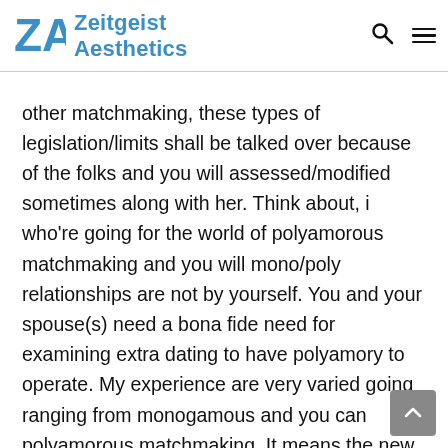Zeitgeist Aesthetics
other matchmaking, these types of legislation/limits shall be talked over because of the folks and you will assessed/modified sometimes along with her. Think about, i who're going for the world of polyamorous matchmaking and you will mono/poly relationships are not by yourself. You and your spouse(s) need a bona fide need for examining extra dating to have polyamory to operate. My experience are very varied going ranging from monogamous and you can polyamorous matchmaking. It means the new polyamorous lover is looking become inside the. I want to web log about what works best for us and hopefully will work for you too. The principles out-of relationships commonly simple, but having a collection of mutual laws and regulations set up